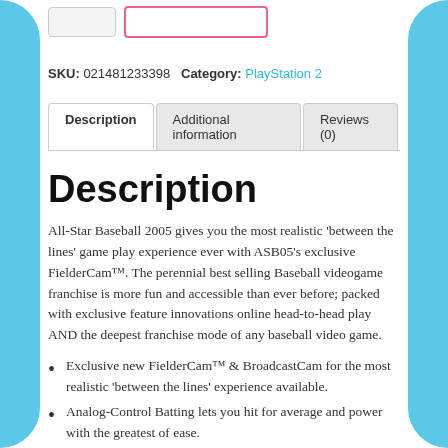[Figure (screenshot): Two UI stub buttons at the top of the page]
SKU: 021481233398 Category: PlayStation 2
[Figure (screenshot): Tab navigation with 'Description' (active), 'Additional information', and 'Reviews (0)']
Description
All-Star Baseball 2005 gives you the most realistic 'between the lines' game play experience ever with ASB05's exclusive FielderCam™. The perennial best selling Baseball videogame franchise is more fun and accessible than ever before; packed with exclusive feature innovations online head-to-head play AND the deepest franchise mode of any baseball video game.
Exclusive new FielderCam™ & BroadcastCam for the most realistic 'between the lines' experience available.
Analog-Control Batting lets you hit for average and power with the greatest of ease.